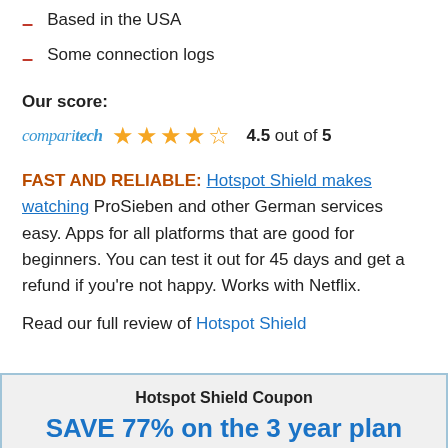Based in the USA
Some connection logs
Our score:
[Figure (other): Comparitech logo with 4.5 out of 5 stars rating]
FAST AND RELIABLE: Hotspot Shield makes watching ProSieben and other German services easy. Apps for all platforms that are good for beginners. You can test it out for 45 days and get a refund if you're not happy. Works with Netflix.
Read our full review of Hotspot Shield
Hotspot Shield Coupon
SAVE 77% on the 3 year plan